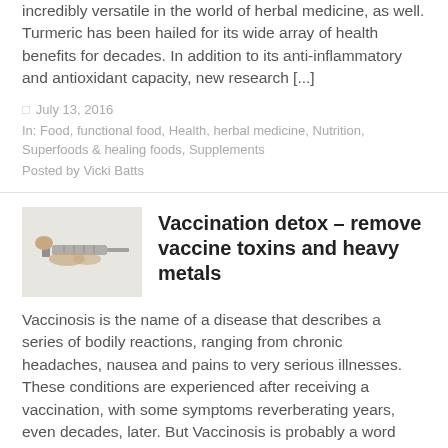incredibly versatile in the world of herbal medicine, as well. Turmeric has been hailed for its wide array of health benefits for decades. In addition to its anti-inflammatory and antioxidant capacity, new research [...]
July 13, 2016
In: Food, functional food, Health, herbal medicine, Nutrition, Superfoods & healing foods, Supplements
Posted by Vicki Batts
[Figure (photo): Close-up photo of a syringe being handled by hands against a light background]
Vaccination detox – remove vaccine toxins and heavy metals
Vaccinosis is the name of a disease that describes a series of bodily reactions, ranging from chronic headaches, nausea and pains to very serious illnesses. These conditions are experienced after receiving a vaccination, with some symptoms reverberating years, even decades, later. But Vaccinosis is probably a word unknown to your medical tech or physician about to inject [...]
June 23, 2016
In: Health, Health freedom, Super Foods, Supplements, Vaccines, vaccines